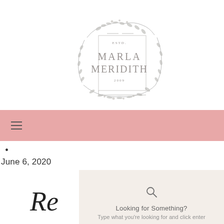[Figure (logo): Marla Meridith logo with floral wreath border, text: ESTD. MARLA MERIDITH 2009]
≡ (hamburger menu icon on pink navigation bar)
•
June 6, 2020
Re
[Figure (other): Search overlay panel with magnifying glass icon, text: Looking for Something? Type what you're looking for and click enter]